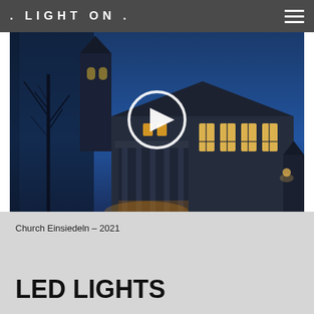. LIGHT ON .
[Figure (photo): Night photo of Church Einsiedeln illuminated from outside, with a deep blue sky. A white circular play button overlay is centered on the image. Church building with lit windows and a tower visible on the left.]
Church Einsiedeln – 2021
LED LIGHTS